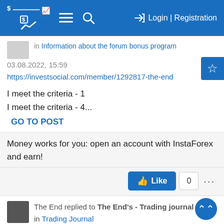Login | Registration
in Information about the forum bonus program
03.08.2022, 15:59
https://investsocial.com/member/1292817-the-end
I meet the criteria - 1
I meet the criteria - 4...
GO TO POST
Money works for you: open an account with InstaForex and earn!
Like  0
The End replied to The End's - Trading journal
in Trading Journal
03.08.2022, 00:17